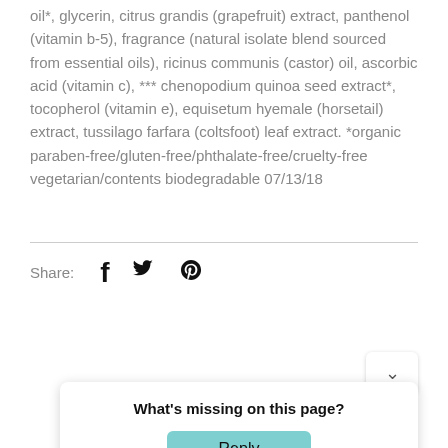oil*, glycerin, citrus grandis (grapefruit) extract, panthenol (vitamin b-5), fragrance (natural isolate blend sourced from essential oils), ricinus communis (castor) oil, ascorbic acid (vitamin c), *** chenopodium quinoa seed extract*, tocopherol (vitamin e), equisetum hyemale (horsetail) extract, tussilago farfara (coltsfoot) leaf extract. *organic paraben-free/gluten-free/phthalate-free/cruelty-free vegetarian/contents biodegradable 07/13/18
Share:
[Figure (other): Social share icons: Facebook (f), Twitter (bird), Pinterest (P)]
What's missing on this page?
Reply